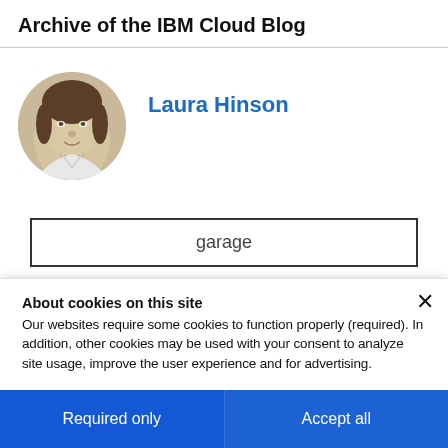Archive of the IBM Cloud Blog
Laura Hinson
[Figure (photo): Circular profile photo of Laura Hinson, a woman with dark hair]
garage
About cookies on this site
Our websites require some cookies to function properly (required). In addition, other cookies may be used with your consent to analyze site usage, improve the user experience and for advertising.

For more information, please review your Cookie preferences options and IBM's privacy statement.
Required only
Accept all